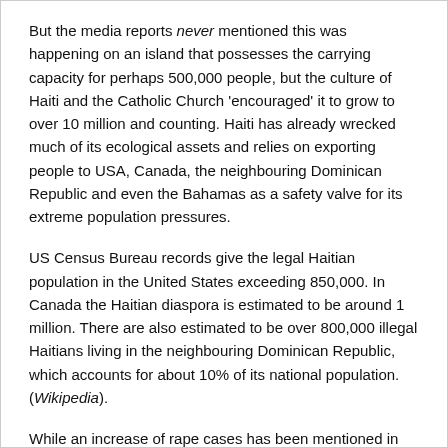But the media reports never mentioned this was happening on an island that possesses the carrying capacity for perhaps 500,000 people, but the culture of Haiti and the Catholic Church 'encouraged' it to grow to over 10 million and counting. Haiti has already wrecked much of its ecological assets and relies on exporting people to USA, Canada, the neighbouring Dominican Republic and even the Bahamas as a safety valve for its extreme population pressures.
US Census Bureau records give the legal Haitian population in the United States exceeding 850,000. In Canada the Haitian diaspora is estimated to be around 1 million. There are also estimated to be over 800,000 illegal Haitians living in the neighbouring Dominican Republic, which accounts for about 10% of its national population. (Wikipedia).
While an increase of rape cases has been mentioned in some news reports since the disaster, a reproductive health survey, conducted by UNFPA Haiti in October 2010, found that the fertility rate in urban areas has tripled from four per cent to 12 per cent. But this was never mentioned in on-going media coverage of the disaster or in NGO aid appeals.